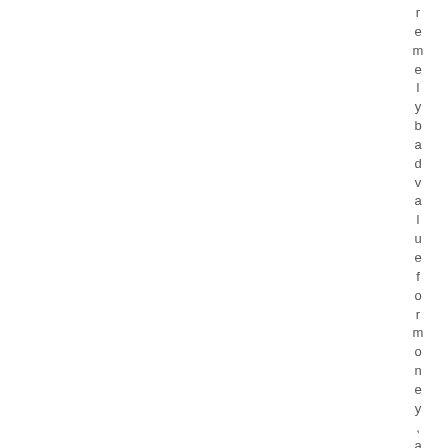r e m e l y b a d v a l u e f o r m o n e y , a n d t h i s